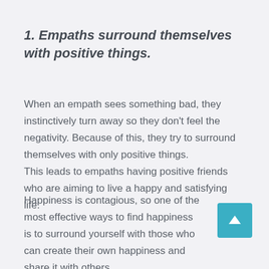1. Empaths surround themselves with positive things.
When an empath sees something bad, they instinctively turn away so they don't feel the negativity. Because of this, they try to surround themselves with only positive things. This leads to empaths having positive friends who are aiming to live a happy and satisfying life.
Happiness is contagious, so one of the most effective ways to find happiness is to surround yourself with those who can create their own happiness and share it with others.